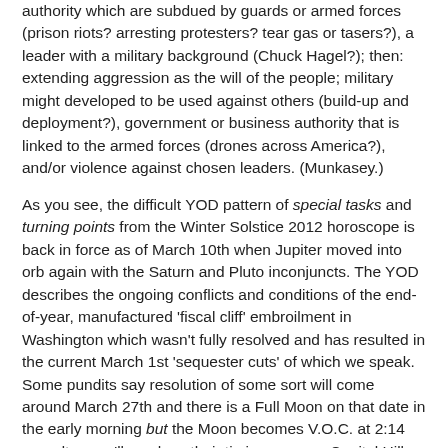authority which are subdued by guards or armed forces (prison riots? arresting protesters? tear gas or tasers?), a leader with a military background (Chuck Hagel?); then: extending aggression as the will of the people; military might developed to be used against others (build-up and deployment?), government or business authority that is linked to the armed forces (drones across America?), and/or violence against chosen leaders. (Munkasey.)
As you see, the difficult YOD pattern of special tasks and turning points from the Winter Solstice 2012 horoscope is back in force as of March 10th when Jupiter moved into orb again with the Saturn and Pluto inconjuncts. The YOD describes the ongoing conflicts and conditions of the end-of-year, manufactured 'fiscal cliff' embroilment in Washington which wasn't fully resolved and has resulted in the current March 1st 'sequester cuts' of which we speak. Some pundits say resolution of some sort will come around March 27th and there is a Full Moon on that date in the early morning but the Moon becomes V.O.C. at 2:14 pm edt so we'll see how their timing goes on Capitol Hill and if their deliberations 'flow' with the Moon's natural rhythm.